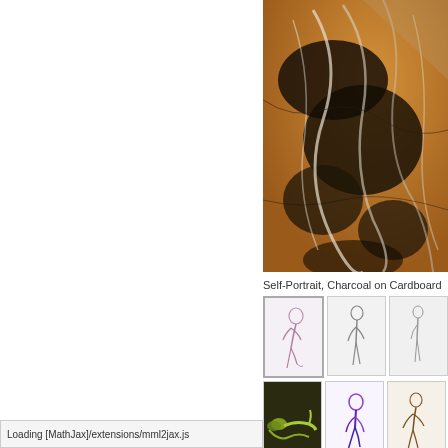[Figure (photo): Close-up photo of a charcoal self-portrait on cardboard, showing brown/orange cardboard texture with dark charcoal marks and white/silver highlights suggesting a face or form emerging from the surface.]
Self-Portrait, Charcoal on Cardboard
[Figure (illustration): Thumbnail gallery row 1: three figure drawings - first (selected/highlighted) shows a seated nude figure in purple/pink pencil; second shows a standing figure in graphite; third shows a partial figure in graphite.]
[Figure (illustration): Thumbnail gallery row 2: three figure drawings - first shows a reclining figure in yellow/green colors; second shows a kneeling figure in purple/blue colors; third shows a seated figure in sepia/brown tones.]
[Figure (illustration): Thumbnail gallery row 3 (partial): three figure drawings partially visible at bottom edge.]
Loading [MathJax]/extensions/mml2jax.js